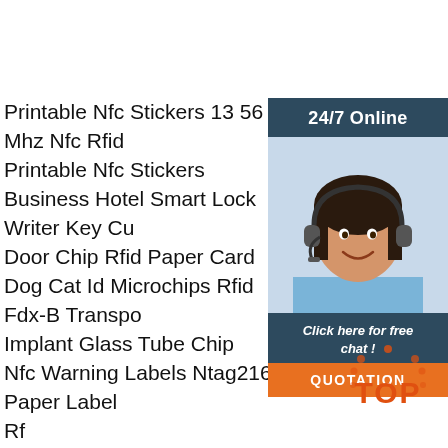Printable Nfc Stickers 13 56 Mhz Nfc Rfid Printable Nfc Stickers
Business Hotel Smart Lock Writer Key Cu Door Chip Rfid Paper Card
Dog Cat Id Microchips Rfid Fdx-B Transpo Implant Glass Tube Chip
Nfc Warning Labels Ntag216 Paper Label Rf
Ip66 Uhf Rfid Anti Metal Gas Tag Gas Bot Management 103
6m Read Range Reusable Uhf Rfid Wrist Swimming Triathlon Passive 860-960mhz
Opp Iot Small Uhf Rfid Ceramic Tag Metal Asset Management
Free Sample Etsi Oem Transport Logistics Tracking Long Distance Rfid Metal Tag
Wireless Battery-Free Temperature Sensor Rfid Tags
[Figure (illustration): Customer service chat widget with a woman wearing a headset, dark blue background with '24/7 Online' text, 'Click here for free chat!' message, and an orange QUOTATION button]